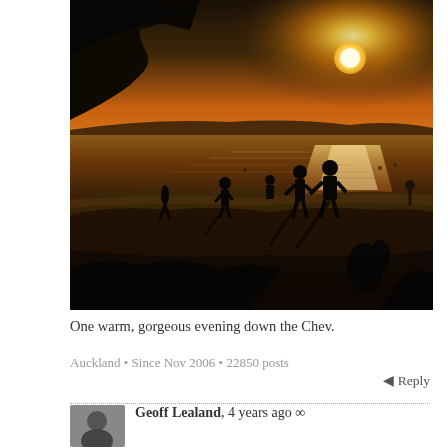[Figure (photo): Sunset beach scene with silhouetted people standing along a shoreline. Golden sun reflects on water. Trees visible in upper left. Warm orange and brown tones.]
One warm, gorgeous evening down the Chev.
Auckland • Since Nov 2006 • 22850 posts
Reply
Geoff Lealand, 4 years ago ∞
[Figure (photo): Small grayscale avatar/profile photo thumbnail]